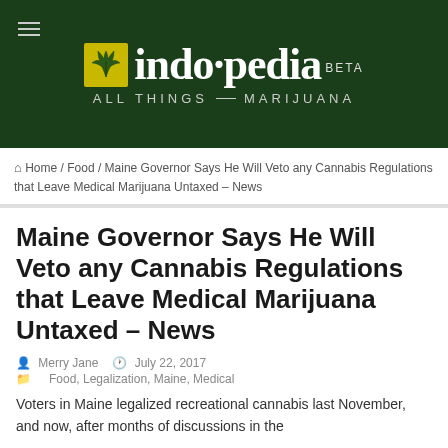[Figure (logo): Indopedia logo — green banner with cannabis leaf icon and tagline 'ALL THINGS MARIJUANA' with BETA label]
Home / Food / Maine Governor Says He Will Veto any Cannabis Regulations that Leave Medical Marijuana Untaxed – News
Maine Governor Says He Will Veto any Cannabis Regulations that Leave Medical Marijuana Untaxed – News
Merry Jane  July 22, 2017
Food, Legalization, Maine, Medical
Voters in Maine legalized recreational cannabis last November, and now, after months of discussions in the